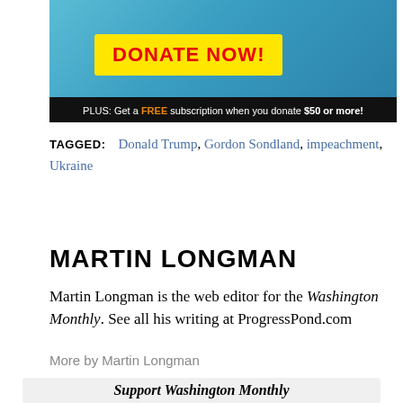[Figure (illustration): Donation banner ad with cartoon superhero figure on blue background, yellow 'DONATE NOW!' button, black footer bar reading 'PLUS: Get a FREE subscription when you donate $50 or more!']
TAGGED: Donald Trump, Gordon Sondland, impeachment, Ukraine
MARTIN LONGMAN
Martin Longman is the web editor for the Washington Monthly. See all his writing at ProgressPond.com
More by Martin Longman
Support Washington Monthly